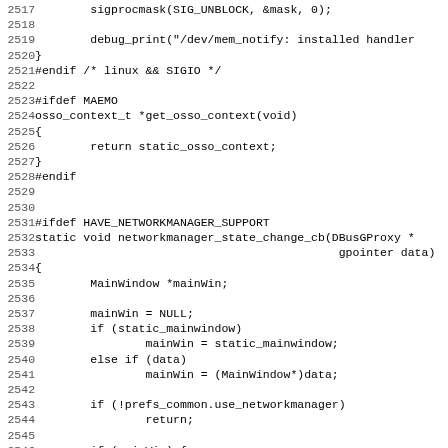Source code listing lines 2517-2548, showing C code with sigprocmask, debug_print, #endif, #ifdef MAEMO, osso_context_t, #ifdef HAVE_NETWORKMANAGER_SUPPORT, networkmanager_state_change_cb function